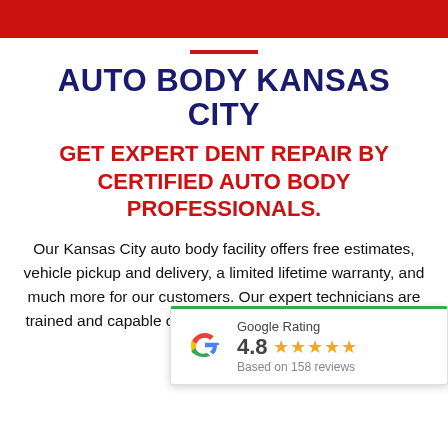AUTO BODY KANSAS CITY
GET EXPERT DENT REPAIR BY CERTIFIED AUTO BODY PROFESSIONALS.
Our Kansas City auto body facility offers free estimates, vehicle pickup and delivery, a limited lifetime warranty, and much more for our customers. Our expert technicians are trained and capable of making repairs on all domestic and import vehicles.
[Figure (infographic): Google Rating widget showing 4.8 stars based on 158 reviews]